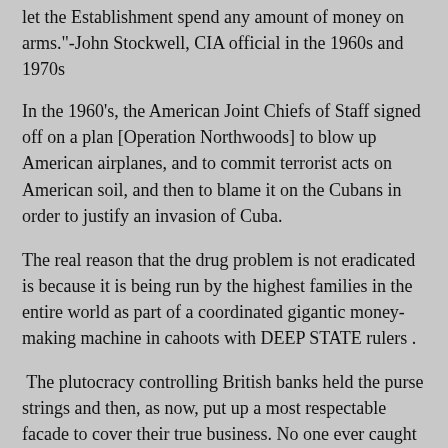let the Establishment spend any amount of money on arms."-John Stockwell, CIA official in the 1960s and 1970s
In the 1960's, the American Joint Chiefs of Staff signed off on a plan [Operation Northwoods] to blow up American airplanes, and to commit terrorist acts on American soil, and then to blame it on the Cubans in order to justify an invasion of Cuba.
The real reason that the drug problem is not eradicated is because it is being run by the highest families in the entire world as part of a coordinated gigantic money-making machine in cahoots with DEEP STATE rulers .
The plutocracy controlling British banks held the purse strings and then, as now, put up a most respectable facade to cover their true business. No one ever caught them with dirtied hands. They always had front men, even as they do today, willing to take the blame if things went awry. Then as now the connections with the drug trade were tenuous at best. No one was ever able to lay a